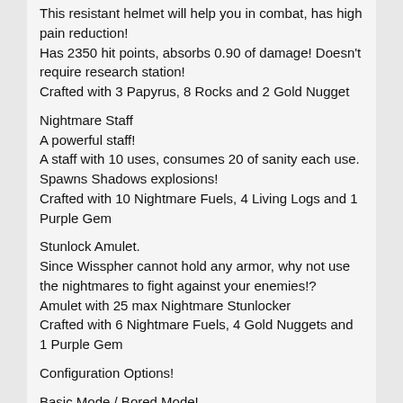This resistant helmet will help you in combat, has high pain reduction!
Has 2350 hit points, absorbs 0.90 of damage! Doesn't require research station!
Crafted with 3 Papyrus, 8 Rocks and 2 Gold Nugget
Nightmare Staff
A powerful staff!
A staff with 10 uses, consumes 20 of sanity each use.
Spawns Shadows explosions!
Crafted with 10 Nightmare Fuels, 4 Living Logs and 1 Purple Gem
Stunlock Amulet.
Since Wisspher cannot hold any armor, why not use the nightmares to fight against your enemies!?
Amulet with 25 max Nightmare Stunlocker
Crafted with 6 Nightmare Fuels, 4 Gold Nuggets and 1 Purple Gem
Configuration Options!
Basic Mode / Bored Mode!
This mode is from the people who doesn't want so many items.